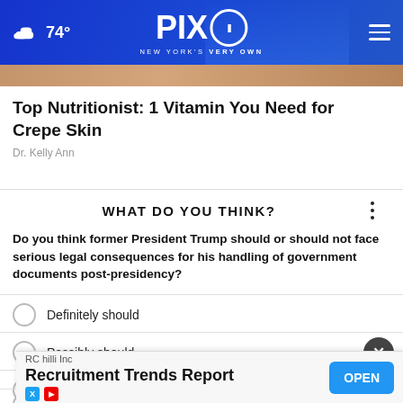74° PIX11 NEW YORK'S VERY OWN
[Figure (screenshot): Partial photo strip showing skin/person image]
Top Nutritionist: 1 Vitamin You Need for Crepe Skin
Dr. Kelly Ann
WHAT DO YOU THINK?
Do you think former President Trump should or should not face serious legal consequences for his handling of government documents post-presidency?
Definitely should
Possibly should
D[efinitely should not]
C[an't say]
[Figure (screenshot): Advertisement banner: RC hilli Inc - Recruitment Trends Report - OPEN button]